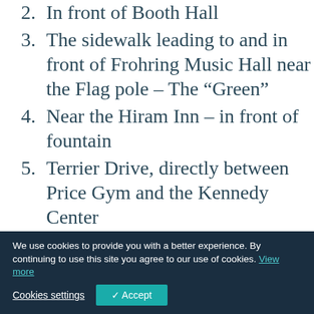2. In front of Booth Hall
3. The sidewalk leading to and in front of Frohring Music Hall near the Flag pole – The “Green”
4. Near the Hiram Inn – in front of fountain
5. Terrier Drive, directly between Price Gym and the Kennedy Center
6. Between the Stadium and Tennis Court parking lots
7. Middle, East side of the track at Dempsey Lake
8. South of the commuter parking
We use cookies to provide you with a better experience. By continuing to use this site you agree to our use of cookies. View more